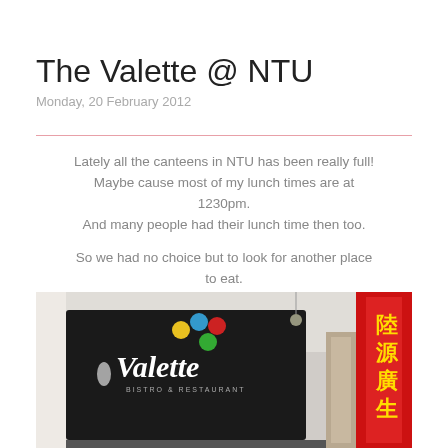The Valette @ NTU
Monday, 20 February 2012
Lately all the canteens in NTU has been really full! Maybe cause most of my lunch times are at 1230pm. And many people had their lunch time then too.

So we had no choice but to look for another place to eat. Raymond introduced us this place! Remember going there once in year 1 if I'm not wrong. (But there wasn't space for us then so I've not tried the food here before)
[Figure (photo): Photo of The Valette bistro & restaurant sign — a dark board with white 'Valette' lettering and colorful paint-palette dots logo. A red Chinese New Year banner is visible to the right.]